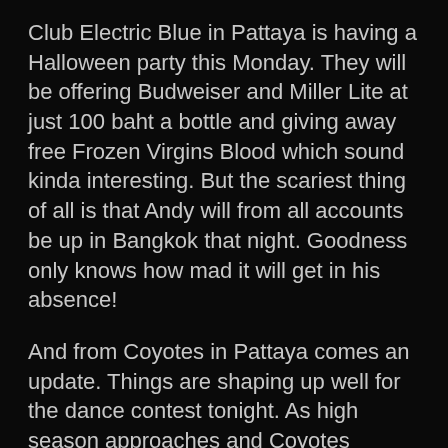Club Electric Blue in Pattaya is having a Halloween party this Monday. They will be offering Budweiser and Miller Lite at just 100 baht a bottle and giving away free Frozen Virgins Blood which sound kinda interesting. But the scariest thing of all is that Andy will from all accounts be up in Bangkok that night. Goodness only knows how mad it will get in his absence!
And from Coyotes in Pattaya comes an update. Things are shaping up well for the dance contest tonight. As high season approaches and Coyotes prepares themselves for it, a heap of new showgirls have started there in the last week. There are now 23 showgirls alone, which means that during some shows punters feel like they are surrounded by